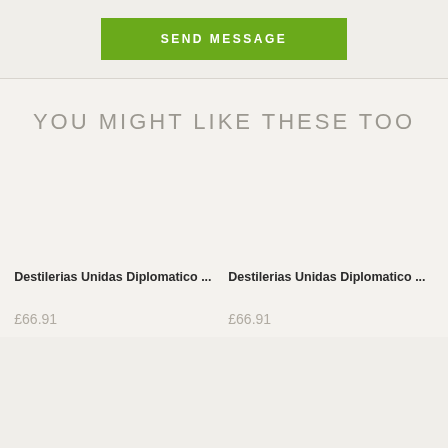SEND MESSAGE
YOU MIGHT LIKE THESE TOO
Destilerias Unidas Diplomatico ...
Destilerias Unidas Diplomatico ...
£66.91
£66.91